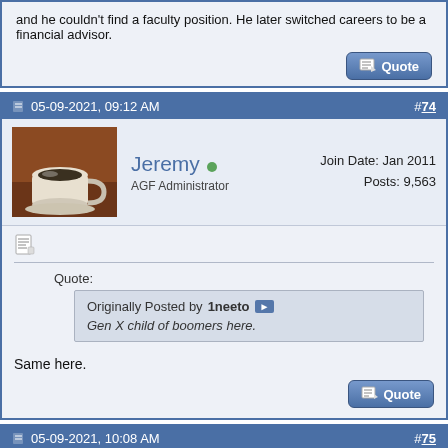and he couldn't find a faculty position. He later switched careers to be a financial advisor.
#74 · 05-09-2021, 09:12 AM
Jeremy · AGF Administrator · Join Date: Jan 2011 · Posts: 9,563
Quote: Originally Posted by 1neeto · Gen X child of boomers here.
Same here.
#75 · 05-09-2021, 10:08 AM
tigobah · Registered User · Join Date: Jul 2018 · Posts: 109